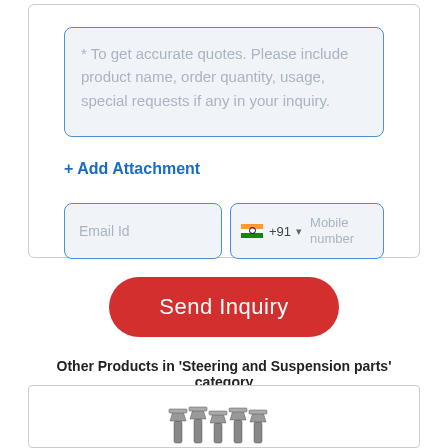* To get accurate quotes. Please include product name, order quantity, usage, special requests if any in your inquiry.
+ Add Attachment
[Figure (screenshot): Form fields: Email Id input box and phone number field with India flag +91 and Mobile number placeholder]
Send Inquiry
Other Products in 'Steering and Suspension parts' category
[Figure (photo): Photo of metal bolts/screws - steering and suspension parts]